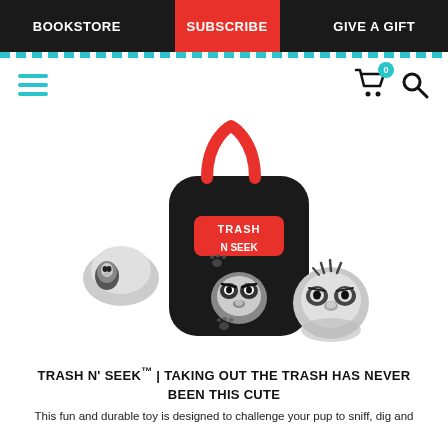BOOKSTORE | SUBSCRIBE | GIVE A GIFT
[Figure (photo): Product photo of Trash N Seek dog toy — a black plush trash bag with red looped handles, branded with 'Trash N Seek' logo, with three raccoon character plush toys around and inside it, on a white background.]
TRASH N' SEEK™ | TAKING OUT THE TRASH HAS NEVER BEEN THIS CUTE
This fun and durable toy is designed to challenge your pup to sniff, dig and